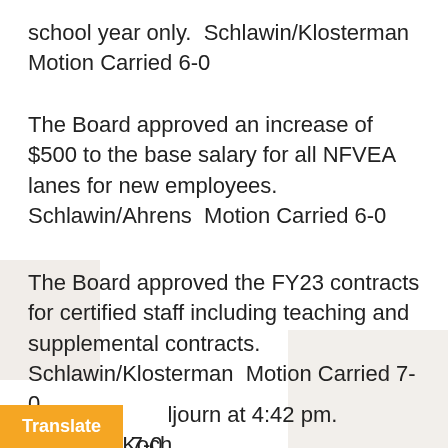school year only.  Schlawin/Klosterman Motion Carried 6-0
The Board approved an increase of $500 to the base salary for all NFVEA lanes for new employees.  Schlawin/Ahrens  Motion Carried 6-0
The Board approved the FY23 contracts for certified staff including teaching and supplemental contracts.  Schlawin/Klosterman  Motion Carried 7-0
Motion to adjourn at 4:42 pm. Schlawin/Koch Motion Carried 7-0